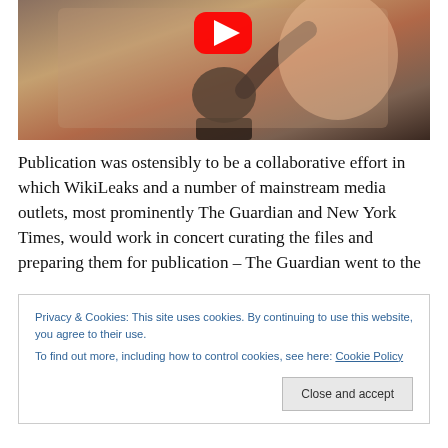[Figure (screenshot): YouTube video thumbnail showing a person raising their hand in front of a large screen, with the YouTube play button overlay visible]
Publication was ostensibly to be a collaborative effort in which WikiLeaks and a number of mainstream media outlets, most prominently The Guardian and New York Times, would work in concert curating the files and preparing them for publication – The Guardian went to the
Privacy & Cookies: This site uses cookies. By continuing to use this website, you agree to their use.
To find out more, including how to control cookies, see here: Cookie Policy
Close and accept